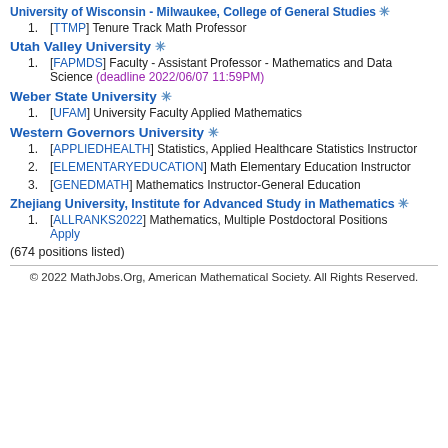University of Wisconsin - Milwaukee, College of General Studies ✳
[TTMP] Tenure Track Math Professor
Utah Valley University ✳
[FAPMDS] Faculty - Assistant Professor - Mathematics and Data Science (deadline 2022/06/07 11:59PM)
Weber State University ✳
[UFAM] University Faculty Applied Mathematics
Western Governors University ✳
[APPLIEDHEALTH] Statistics, Applied Healthcare Statistics Instructor
[ELEMENTARYEDUCATION] Math Elementary Education Instructor
[GENEDMATH] Mathematics Instructor-General Education
Zhejiang University, Institute for Advanced Study in Mathematics ✳
[ALLRANKS2022] Mathematics, Multiple Postdoctoral Positions Apply
(674 positions listed)
© 2022 MathJobs.Org, American Mathematical Society. All Rights Reserved.